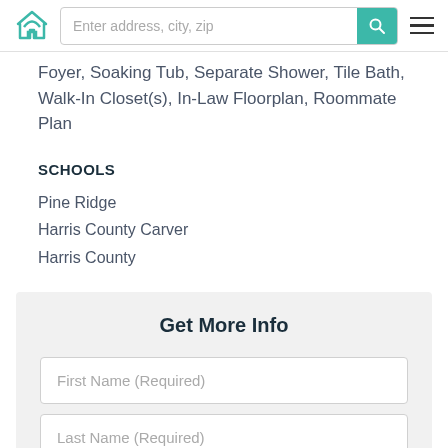Enter address, city, zip
Foyer, Soaking Tub, Separate Shower, Tile Bath, Walk-In Closet(s), In-Law Floorplan, Roommate Plan
SCHOOLS
Pine Ridge
Harris County Carver
Harris County
Get More Info
First Name (Required)
Last Name (Required)